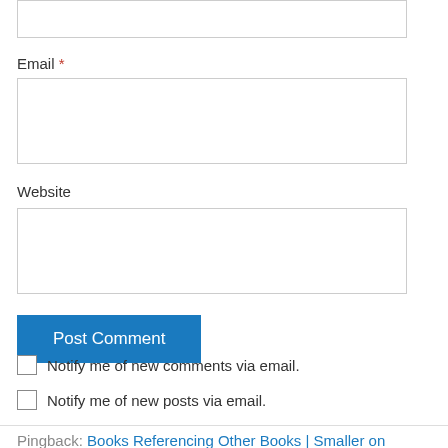[Figure (screenshot): Empty text input box at top of page (partial, cropped)]
Email *
[Figure (screenshot): Email input text box]
Website
[Figure (screenshot): Website input text box]
Post Comment
Notify me of new comments via email.
Notify me of new posts via email.
Pingback: Books Referencing Other Books | Smaller on